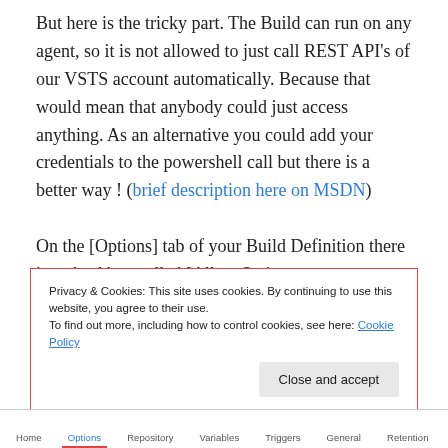But here is the tricky part. The Build can run on any agent, so it is not allowed to just call REST API's of our VSTS account automatically. Because that would mean that anybody could just access anything. As an alternative you could add your credentials to the powershell call but there is a better way ! (brief description here on MSDN)
On the [Options] tab of your Build Definition there is a checkbox called [Allow Scripts to access OAuth Token]. This option creates a hidden variable call System.AccessToken, which you can add to the header of
Privacy & Cookies: This site uses cookies. By continuing to use this website, you agree to their use.
To find out more, including how to control cookies, see here: Cookie Policy
[Close and accept]